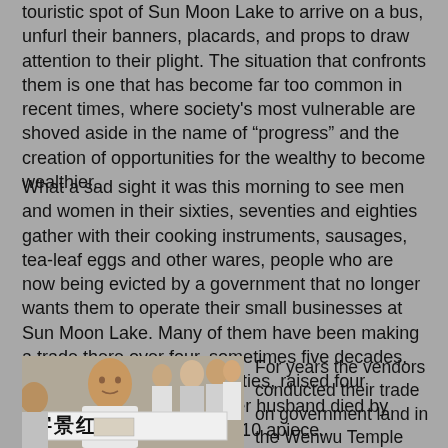touristic spot of Sun Moon Lake to arrive on a bus, unfurl their banners, placards, and props to draw attention to their plight. The situation that confronts them is one that has become far too common in recent times, where society's most vulnerable are shoved aside in the name of “progress” and the creation of opportunities for the wealthy to become wealthier.
What a sad sight it was this morning to see men and women in their sixties, seventies and eighties gather with their cooking instruments, sausages, tea-leaf eggs and other wares, people who are now being evicted by a government that no longer wants them to operate their small businesses at Sun Moon Lake. Many of them have been making a trade there over four, sometimes five decades. One, a woman in her seventies, raised four children on her own after her husband died by selling tea-leaf eggs at NT$10 apiece.
[Figure (photo): Elderly man holding a white banner with Chinese characters at a protest, other protesters visible in background]
For years the vendors conducted their trade on government land in the Wenwu Temple area, obtaining permits for about